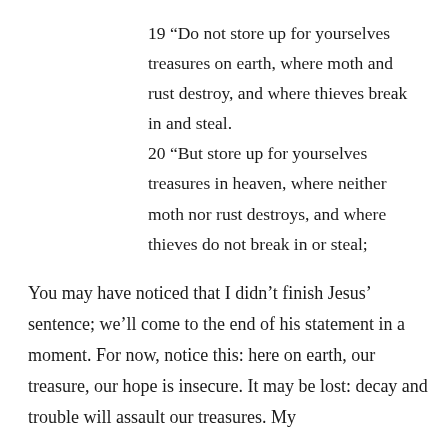19 “Do not store up for yourselves treasures on earth, where moth and rust destroy, and where thieves break in and steal. 20 “But store up for yourselves treasures in heaven, where neither moth nor rust destroys, and where thieves do not break in or steal;
You may have noticed that I didn’t finish Jesus’ sentence; we’ll come to the end of his statement in a moment. For now, notice this: here on earth, our treasure, our hope is insecure. It may be lost: decay and trouble will assault our treasures. My